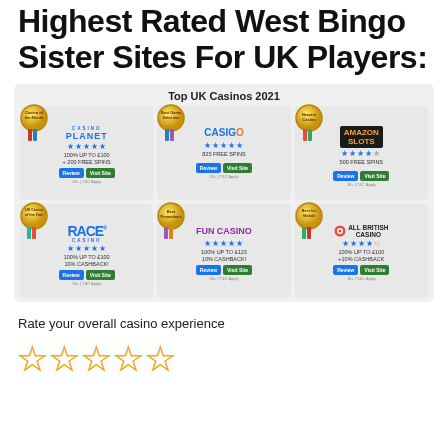Highest Rated West Bingo Sister Sites For UK Players:
[Figure (infographic): Top UK Casinos 2021 grid showing 6 casino cards: Casino Planet, CasiGo, Amazon Slots, Race Casino, Fun Casino, All British Casino. Each card has a gold badge award, star rating, welcome offer, Review and Visit Site buttons, and T&C note.]
Rate your overall casino experience
[Figure (other): 5 empty star rating icons in gold/outline style]